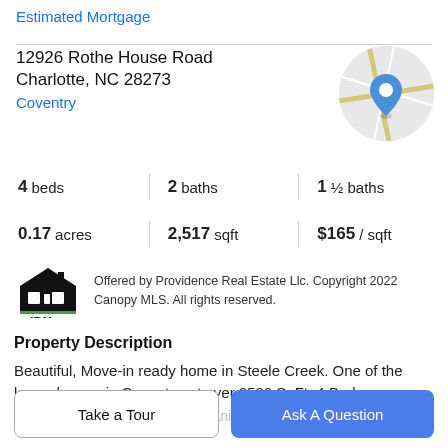Estimated Mortgage
12926 Rothe House Road
Charlotte, NC 28273
Coventry
[Figure (map): Circular map thumbnail showing street map with blue location pin marker]
4 beds | 2 baths | 1 ½ baths
0.17 acres | 2,517 sqft | $165 / sqft
[Figure (logo): IDX house logo with text IDX]
Offered by Providence Real Estate Llc. Copyright 2022 Canopy MLS. All rights reserved.
Property Description
Beautiful, Move-in ready home in Steele Creek. One of the larger homes in Coventry, at over 2500 SqFt. 4 Bedrooms
/ 2.5 Bathrooms. Kitchen with granite counter tops.
Take a Tour
Ask A Question